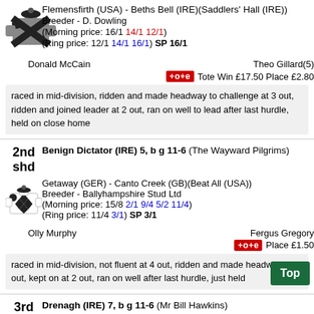Flemensfirth (USA) - Beths Bell (IRE)(Saddlers' Hall (IRE))
Breeder - D. Dowling
(Morning price: 16/1 14/1 12/1)
(Ring price: 12/1 14/1 16/1) SP 16/1
Donald McCain   Theo Gillard(5)
+o+e Tote Win £17.50 Place £2.80
raced in mid-division, ridden and made headway to challenge at 3 out, ridden and joined leader at 2 out, ran on well to lead after last hurdle, held on close home
2nd shd
Benign Dictator (IRE) 5, b g 11-6 (The Wayward Pilgrims)
Getaway (GER) - Canto Creek (GB)(Beat All (USA))
Breeder - Ballyhampshire Stud Ltd
(Morning price: 15/8 2/1 9/4 5/2 11/4)
(Ring price: 11/4 3/1) SP 3/1
Olly Murphy   Fergus Gregory
+o+e Place £1.50
raced in mid-division, not fluent at 4 out, ridden and made headway at 3 out, kept on at 2 out, ran on well after last hurdle, just held
3rd
Drenagh (IRE) 7, b g 11-6 (Mr Bill Hawkins)